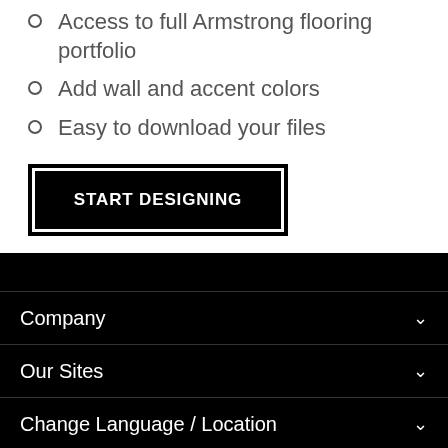Access to full Armstrong flooring portfolio
Add wall and accent colors
Easy to download your files
START DESIGNING
Company | Our Sites | Change Language / Location